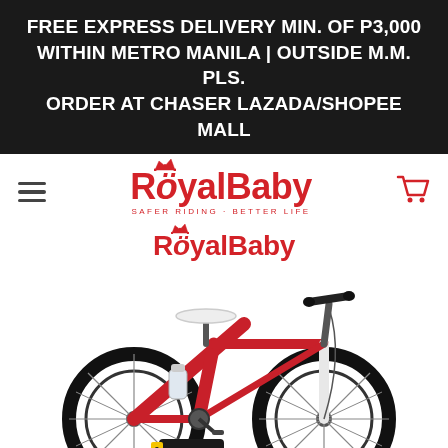FREE EXPRESS DELIVERY MIN. OF P3,000 WITHIN METRO MANILA | OUTSIDE M.M. PLS. ORDER AT CHASER LAZADA/SHOPEE MALL
[Figure (logo): RoyalBaby logo with crown icon and tagline SAFER RIDING · BETTER LIFE in red, with hamburger menu icon on the left and red shopping cart icon on the right]
[Figure (logo): RoyalBaby brand name in red with crown icon above the letter o]
[Figure (photo): Red children's bicycle (RoyalBaby Freestyle 3) with white seat, water bottle holder, black handlebars, and training wheels visible at the bottom]